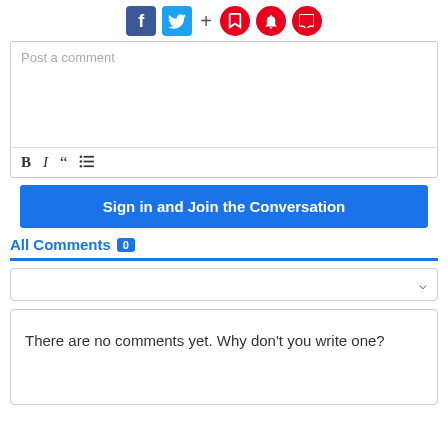[Figure (screenshot): Social sharing icons: Facebook (blue square), Twitter (light blue square), plus sign, and three red circle icons (bookmark, bell, comment)]
[Figure (screenshot): Comment text input box with placeholder text 'Post a comment' and formatting toolbar with Bold, Italic, Quote, and List icons]
Sign in and Join the Conversation
All Comments 0
[Figure (screenshot): Sort dropdown selector with down chevron]
There are no comments yet. Why don't you write one?